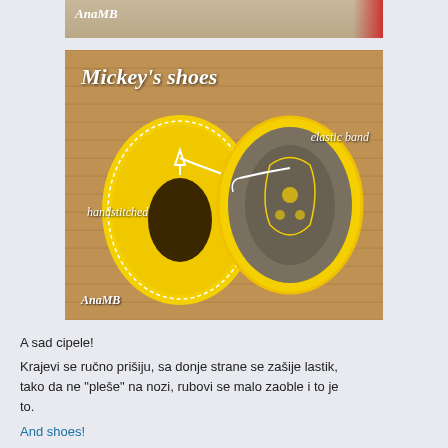[Figure (photo): Top strip of a previous photo showing partial image with 'AnaMB' watermark]
[Figure (photo): Photo of two yellow Mickey Mouse-style shoes on a wooden floor. Left shoe shows front (yellow oval shape with hole), right shoe shows bottom (gray sole with yellow pattern). Text labels: 'Mickey's shoes' at top, 'elastic band' pointing to right shoe, 'handstitched' with upward arrow on left shoe, 'AnaMB' credit at bottom left.]
A sad cipele!
Krajevi se ručno prišiju, sa donje strane se zašije lastik, tako da ne "pleše" na nozi, rubovi se malo zaoble i to je to.
And shoes!
The edges are handstitched, some elastic band from the